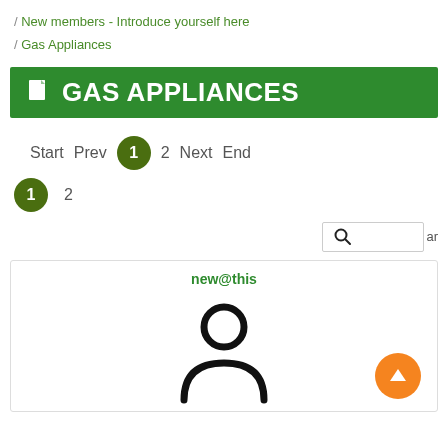/ New members - Introduce yourself here
/ Gas Appliances
GAS APPLIANCES
Start  Prev  1  2  Next  End
1  2
[Figure (screenshot): Search box with magnifying glass icon and partial text 'ar']
new@this
[Figure (illustration): Generic user avatar icon (silhouette of person) in black, and an orange circular upload/up arrow button in the bottom right]